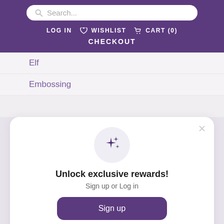Search... LOG IN  WISHLIST  CART (0)  CHECKOUT
Elf
Embossing
[Figure (illustration): Sparkle/stars icon inside a light grey circle]
Unlock exclusive rewards!
Sign up or Log in
Sign up
Already have an account? Sign in